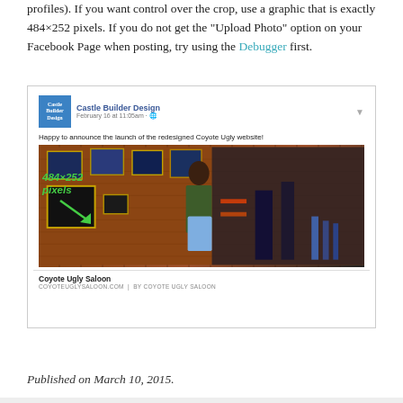profiles). If you want control over the crop, use a graphic that is exactly 484×252 pixels. If you do not get the “Upload Photo” option on your Facebook Page when posting, try using the Debugger first.
[Figure (screenshot): Screenshot of a Facebook post by Castle Builder Design showing a photo of Coyote Ugly Saloon website launch announcement. The image shows a woman in a bar with brick walls and framed photos. An annotation reads '484×252 pixels' with a green arrow pointing to the image area.]
Published on March 10, 2015.